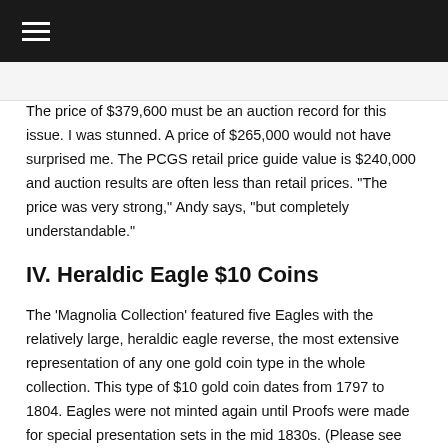≡
The price of $379,600 must be an auction record for this issue. I was stunned. A price of $265,000 would not have surprised me. The PCGS retail price guide value is $240,000 and auction results are often less than retail prices. “The price was very strong,” Andy says, “but completely understandable.”
IV. Heraldic Eagle $10 Coins
The ‘Magnolia Collection’ featured five Eagles with the relatively large, heraldic eagle reverse, the most extensive representation of any one gold coin type in the whole collection. This type of $10 gold coin dates from 1797 to 1804. Eagles were not minted again until Proofs were made for special presentation sets in the mid 1830s. (Please see my column of July 28th for a discussion